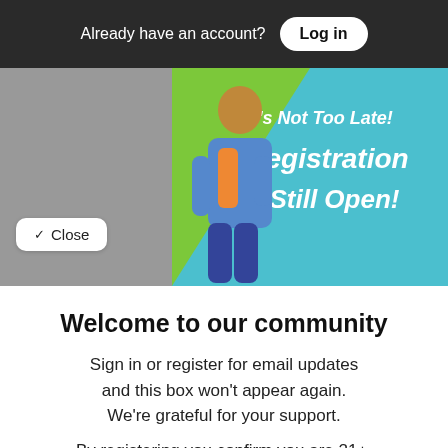Already have an account? Log in
[Figure (photo): Banner image showing a person with text 'It's Not Too Late! Registration is Still Open!']
Close
Welcome to our community
Sign in or register for email updates and this box won't appear again. We're grateful for your support.
By registering you confirm you are 21+.
Free Newsletters 4
Good Times Newsletter (weekly)
News stories, arts and dining